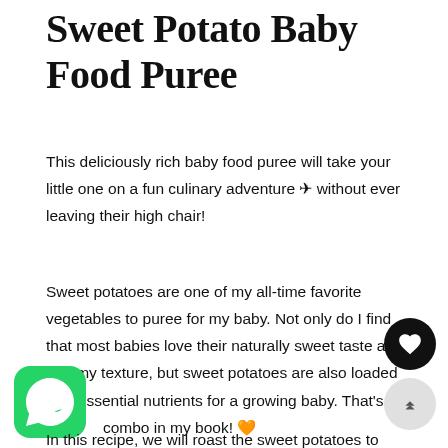Sweet Potato Baby Food Puree
This deliciously rich baby food puree will take your little one on a fun culinary adventure ✈ without ever leaving their high chair!
Sweet potatoes are one of my all-time favorite vegetables to puree for my baby. Not only do I find that most babies love their naturally sweet taste and creamy texture, but sweet potatoes are also loaded with essential nutrients for a growing baby. That's a winning combo in my book! 🧡
In this recipe, we will roast the sweet potatoes to bring